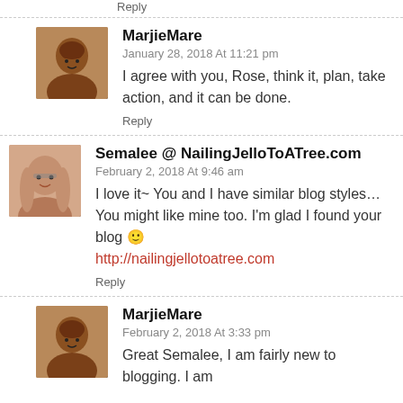Reply
MarjieMare
January 28, 2018 At 11:21 pm
I agree with you, Rose, think it, plan, take action, and it can be done.
Reply
Semalee @ NailingJelloToATree.com
February 2, 2018 At 9:46 am
I love it~ You and I have similar blog styles… You might like mine too. I'm glad I found your blog 🙂
http://nailingjellotoatree.com
Reply
MarjieMare
February 2, 2018 At 3:33 pm
Great Semalee, I am fairly new to blogging. I am